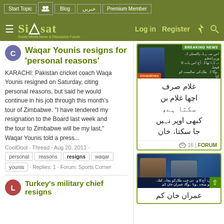Siasat.pk - Social Media News & Discussion Forum | Log in | Register
Waqar Younis resigns for 'personal reasons'
KARACHI: Pakistan cricket coach Waqar Younis resigned on Saturday, citing personal reasons, but said he would continue in his job through this month's tour of Zimbabwe. "I have tendered my resignation to the Board last week and the tour to Zimbabwe will be my last," Waqar Younis told a press...
CoolDool · Thread · Aug 20, 2011 ·
personal | reasons | resigns | waqar | younis · Replies: 1 · Forum: Sports Corner
[Figure (screenshot): Breaking news image with a person speaking, Urdu text overlay, and Imran/political reference label]
غلام صرف اچھا غلام بن سکتا ہے، کبھی اوپر نہیں جا سکتا، خان
16 | FORUM
[Figure (screenshot): Two people in discussion on a TV show, with caption text below in Urdu/English]
Turkey's military chief resigns